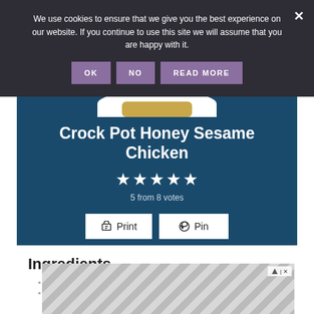We use cookies to ensure that we give you the best experience on our website. If you continue to use this site we will assume that you are happy with it.
OK  NO  READ MORE
Crock Pot Honey Sesame Chicken
5 from 8 votes
Print  Pin
Ingredients